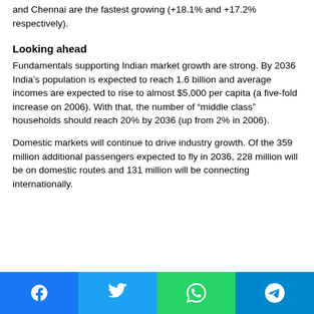and Chennai are the fastest growing (+18.1% and +17.2% respectively).
Looking ahead
Fundamentals supporting Indian market growth are strong. By 2036 India’s population is expected to reach 1.6 billion and average incomes are expected to rise to almost $5,000 per capita (a five-fold increase on 2006). With that, the number of “middle class” households should reach 20% by 2036 (up from 2% in 2006).
Domestic markets will continue to drive industry growth. Of the 359 million additional passengers expected to fly in 2036, 228 million will be on domestic routes and 131 million will be connecting internationally.
Facebook | Twitter | WhatsApp | Telegram